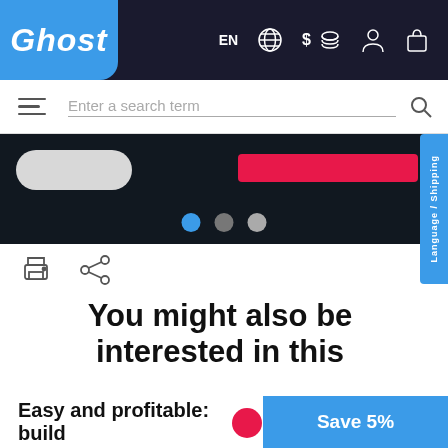[Figure (screenshot): Ghost e-commerce website navbar with logo, EN language selector, dollar/coins icon, user icon, and shopping bag icon on dark background]
[Figure (screenshot): Search bar with hamburger menu, 'Enter a search term' placeholder, and search icon]
[Figure (screenshot): Dark banner slider area with white pill button, pink/red bar, and three slider indicator dots (blue, gray, light gray)]
[Figure (screenshot): Language/Shipping blue tab on right side]
[Figure (screenshot): Print and share icons row]
You might also be interested in this
Easy and profitable: build
[Figure (screenshot): Save 5% blue button at bottom right]